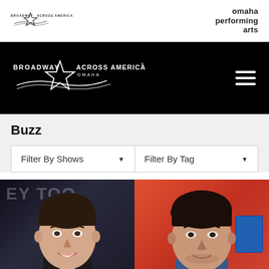Broadway Across America® | omaha performing arts
[Figure (logo): Broadway Across America logo with star on black navigation bar, with OMAHA subtitle and hamburger menu icon]
Buzz
Filter By Shows ▼ | Filter By Tag ▼
[Figure (photo): Two men photographed side by side. Left: a dark-haired man in a suit and tie in front of a dark background with partial text visible. Right: a dark-haired man in a blue jacket against an orange/red background with a blue American Express card logo visible.]